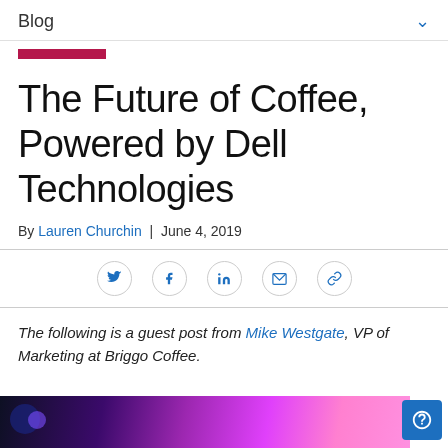Blog
The Future of Coffee, Powered by Dell Technologies
By Lauren Churchin | June 4, 2019
[Figure (infographic): Social sharing icons: Twitter, Facebook, LinkedIn, Email, Link]
The following is a guest post from Mike Westgate, VP of Marketing at Briggo Coffee.
[Figure (photo): Bottom banner image with purple and pink neon colors, dark background]